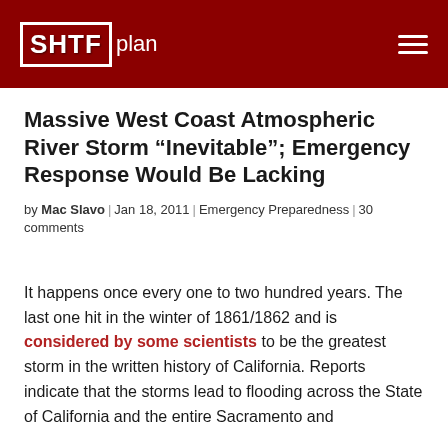SHTFplan
Massive West Coast Atmospheric River Storm “Inevitable”; Emergency Response Would Be Lacking
by Mac Slavo | Jan 18, 2011 | Emergency Preparedness | 30 comments
It happens once every one to two hundred years. The last one hit in the winter of 1861/1862 and is considered by some scientists to be the greatest storm in the written history of California. Reports indicate that the storms lead to flooding across the State of California and the entire Sacramento and